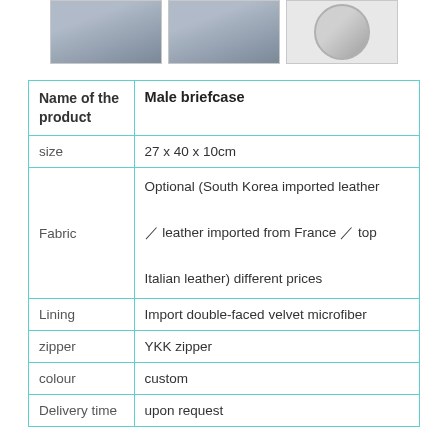[Figure (photo): Three product images of a male briefcase shown at the top of the page inside bordered boxes.]
| Name of the product | Male briefcase |
| --- | --- |
| size | 27 x 40 x 10cm |
| Fabric | Optional (South Korea imported leather / leather imported from France / top Italian leather) different prices |
| Lining | Import double-faced velvet microfiber |
| zipper | YKK zipper |
| colour | custom |
| Delivery time | upon request |